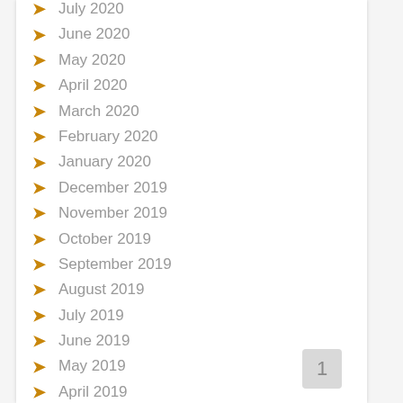July 2020
June 2020
May 2020
April 2020
March 2020
February 2020
January 2020
December 2019
November 2019
October 2019
September 2019
August 2019
July 2019
June 2019
May 2019
April 2019